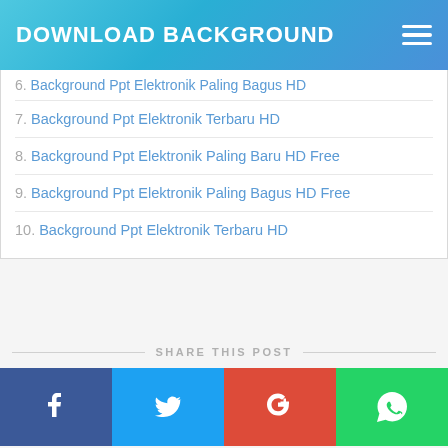DOWNLOAD BACKGROUND
6. Background Ppt Elektronik Paling Bagus HD (partial, truncated)
7. Background Ppt Elektronik Terbaru HD
8. Background Ppt Elektronik Paling Baru HD Free
9. Background Ppt Elektronik Paling Bagus HD Free
10. Background Ppt Elektronik Terbaru HD
SHARE THIS POST
[Figure (infographic): Social share buttons: Facebook (blue), Twitter (light blue), Google+ (red), WhatsApp (green)]